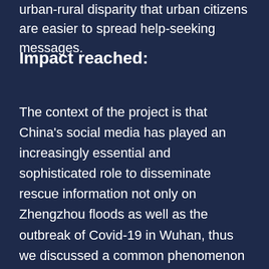urban-rural disparity that urban citizens are easier to spread help-seeking messages.
Impact reached:
The context of the project is that China's social media has played an increasingly essential and sophisticated role to disseminate rescue information not only on Zhengzhou floods as well as the outbreak of Covid-19 in Wuhan, thus we discussed a common phenomenon with a new perspective. We successfully illustrated that reposting by the average person is powerful through visualizing the reposting